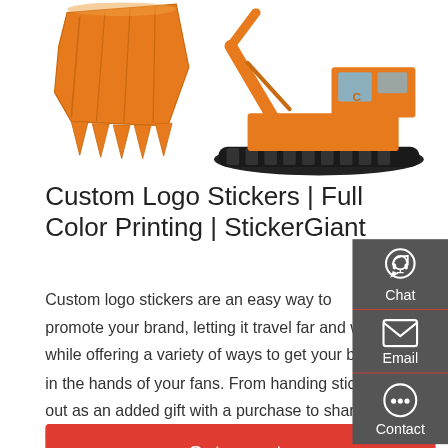[Figure (photo): Two orange construction excavators: left shows excavator bucket closeup, right shows full excavator machine on tracks]
Custom Logo Stickers | Full Color Printing | StickerGiant
Custom logo stickers are an easy way to promote your brand, letting it travel far and wide, while offering a variety of ways to get your brand in the hands of your fans. From handing stickers out as an added gift with a purchase to sharing them with new fans at any event or trade shows your brand hosts or participates in.
[Figure (other): Side panel with Chat, Email, and Contact icons on dark gray background]
Get a quote